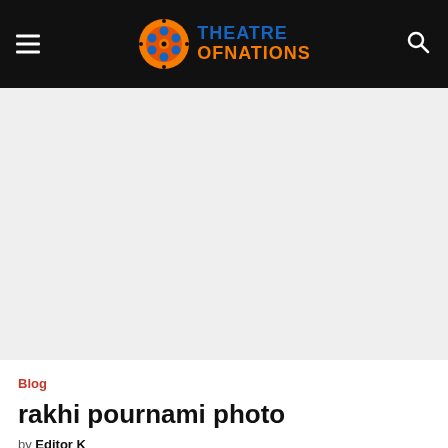Theatre of Nations — site header with hamburger menu, logo, and search icon
[Figure (other): Large advertisement or hero image placeholder area (light gray background)]
Blog
rakhi pournami photo
by Editor K